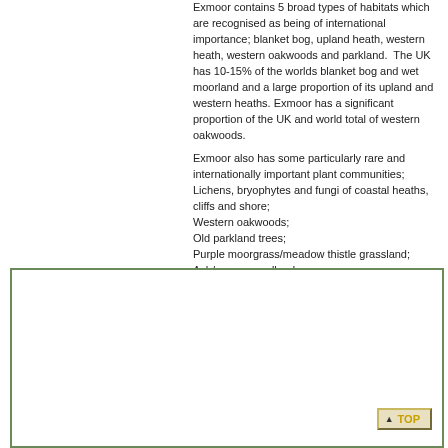Exmoor contains 5 broad types of habitats which are recognised as being of international importance; blanket bog, upland heath, western heath, western oakwoods and parkland.  The UK has 10-15% of the worlds blanket bog and wet moorland and a large proportion of its upland and western heaths. Exmoor has a significant proportion of the UK and world total of western oakwoods.
Exmoor also has some particularly rare and internationally important plant communities; Lichens, bryophytes and fungi of coastal heaths, cliffs and shore; Western oakwoods; Old parkland trees; Purple moorgrass/meadow thistle grassland; Ash/rowan woodland; Bristle bent /western gorse heath.
Rare Species
[Figure (other): Large outlined box area below the Rare Species heading, containing a TOP navigation button in the lower right corner.]